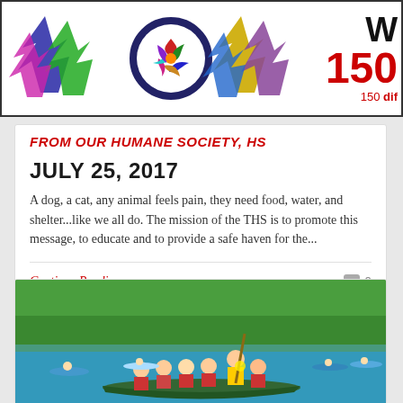[Figure (illustration): Colorful banner with maple leaf decorations, a circular logo in the center, text 'W' partially visible top right, large red '150' with 'diff' text. Appears to be a Canada 150 anniversary banner.]
FROM OUR HUMANE SOCIETY, HS
JULY 25, 2017
A dog, a cat, any animal feels pain, they need food, water, and shelter...like we all do. The mission of the THS is to promote this message, to educate and to provide a safe haven for the...
Continue Reading...
0
[Figure (photo): Group of people in life jackets paddling a large canoe on a lake, with more kayakers in the background. Trees visible on the far shore. Summer camp scene.]